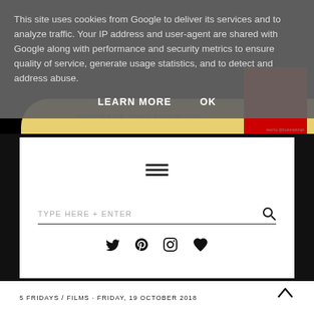This site uses cookies from Google to deliver its services and to analyze traffic. Your IP address and user-agent are shared with Google along with performance and security metrics to ensure quality of service, generate usage statistics, and to detect and address abuse.
LEARN MORE   OK
[Figure (illustration): Partial view of a book cover with yellow curved shape and red element at the right edge, on a dark background]
[Figure (other): List/hamburger menu icon (three horizontal lines with dots)]
TYPE HERE + ENTER
[Figure (other): Social media icons: Twitter (bird), Pinterest (P), Instagram (camera), Bloglovin (heart)]
5 FRIDAYS / FILMS · FRIDAY, 19 OCTOBER 2018